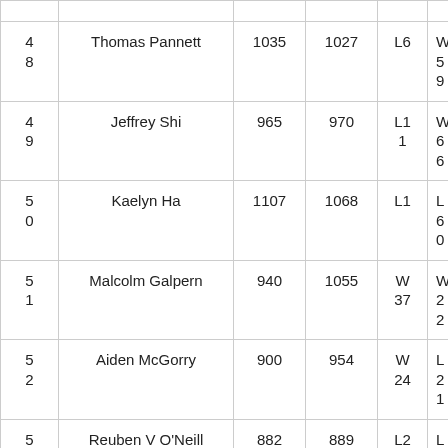| # | Name | Col3 | Col4 | Col5 | Col6 |
| --- | --- | --- | --- | --- | --- |
| 48 | Thomas Pannett | 1035 | 1027 | L6 | W 59 |
| 49 | Jeffrey Shi | 965 | 970 | L11 | W 66 |
| 50 | Kaelyn Ha | 1107 | 1068 | L1 | L6 0 |
| 51 | Malcolm Galpern | 940 | 1055 | W 37 | W 22 |
| 52 | Aiden McGorry | 900 | 954 | W 24 | L2 1 |
| 53 | Reuben V O'Neill | 882 | 889 | L2 1 | L4 6 |